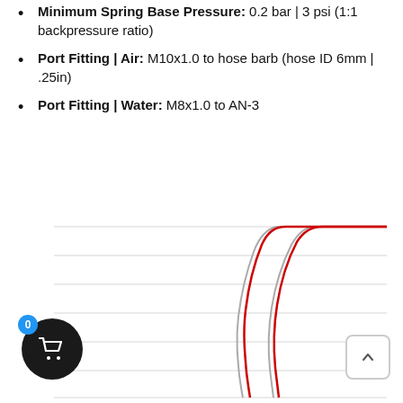Minimum Spring Base Pressure: 0.2 bar | 3 psi (1:1 backpressure ratio)
Port Fitting | Air: M10x1.0 to hose barb (hose ID 6mm | .25in)
Port Fitting | Water: M8x1.0 to AN-3
[Figure (continuous-plot): Performance curve chart showing two S-shaped curves (red and gray) plotting flow or pressure characteristics. The curves rise steeply in the middle section and flatten at top and bottom, indicating valve opening/closing characteristics.]